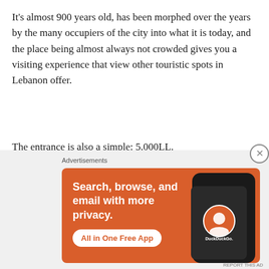It's almost 900 years old, has been morphed over the years by the many occupiers of the city into what it is today, and the place being almost always not crowded gives you a visiting experience that view other touristic spots in Lebanon offer.
The entrance is also a simple: 5,000LL.
5) Rachid Karame Forum is spectacular:
[Figure (other): DuckDuckGo advertisement banner with orange background. Text reads 'Search, browse, and email with more privacy. All in One Free App' with DuckDuckGo logo on a phone mockup.]